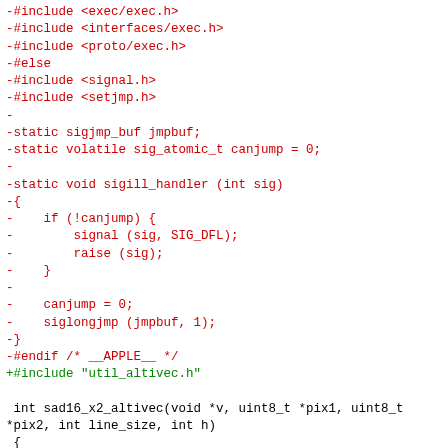Code diff showing removal of Apple-specific signal handling code and addition of util_altivec.h include, followed by function signature and hunk header for POWERPC_PERF_STOP_COUNT altivec_hadamard